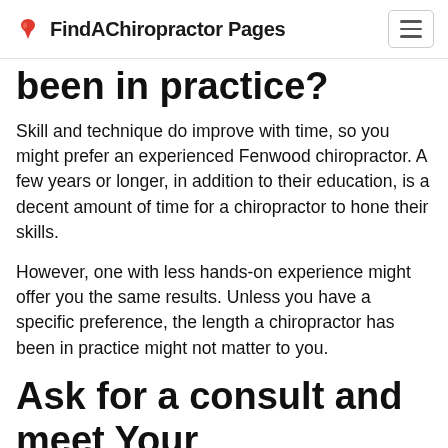FindAChiropractor Pages
been in practice?
Skill and technique do improve with time, so you might prefer an experienced Fenwood chiropractor. A few years or longer, in addition to their education, is a decent amount of time for a chiropractor to hone their skills.
However, one with less hands-on experience might offer you the same results. Unless you have a specific preference, the length a chiropractor has been in practice might not matter to you.
Ask for a consult and meet Your